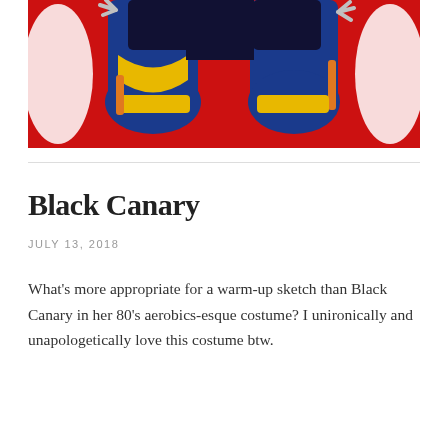[Figure (illustration): Comic-style illustration showing the lower body/legs of a superhero character in blue and yellow boots with claws/talons visible, set against a red background with white brushstroke effects]
Black Canary
JULY 13, 2018
What's more appropriate for a warm-up sketch than Black Canary in her 80's aerobics-esque costume? I unironically and unapologetically love this costume btw.